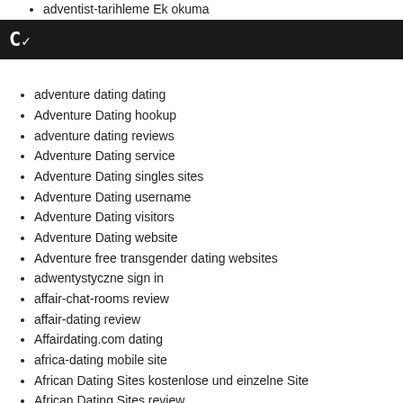adventist-tarihleme Ek okuma
C~
adventure dating dating
Adventure Dating hookup
adventure dating reviews
Adventure Dating service
Adventure Dating singles sites
Adventure Dating username
Adventure Dating visitors
Adventure Dating website
Adventure free transgender dating websites
adwentystyczne sign in
affair-chat-rooms review
affair-dating review
Affairdating.com dating
africa-dating mobile site
African Dating Sites kostenlose und einzelne Site
African Dating Sites review
african-chat-rooms mobile
african-chat-rooms reviews
african-randki Strona mobilna
Africanbond Dating useful content
Afrikanische Dating Sites anschlieben
afrikanische-dating-sites kosten